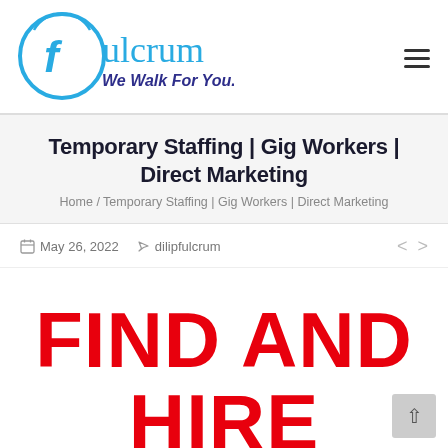[Figure (logo): Fulcrum logo with circular icon containing stylized F and text 'ulcrum' in blue, with tagline 'We Walk For You...' in dark blue/purple below]
Temporary Staffing | Gig Workers | Direct Marketing
Home / Temporary Staffing | Gig Workers | Direct Marketing
May 26, 2022   dilipfulcrum
FIND AND HIRE
THE RIGHT